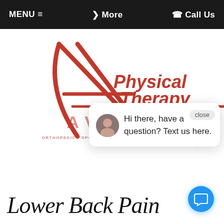MENU ☰   ❯ More   ☎ Call Us
[Figure (logo): Avila Physical Therapy logo — red star/A mark with italic red text 'Physical Therapy' and 'AVILA' in red block letters. Tagline: ORTHOPEDIC · SPORTS REHAB · INJURY PREVENTION]
Hi there, have a question? Text us here.
Lower Back Pain